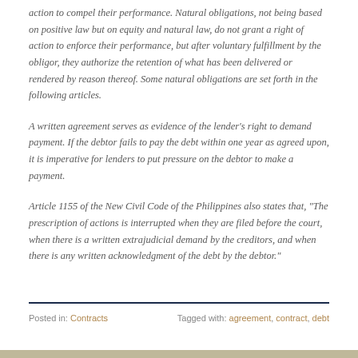action to compel their performance. Natural obligations, not being based on positive law but on equity and natural law, do not grant a right of action to enforce their performance, but after voluntary fulfillment by the obligor, they authorize the retention of what has been delivered or rendered by reason thereof. Some natural obligations are set forth in the following articles.
A written agreement serves as evidence of the lender's right to demand payment. If the debtor fails to pay the debt within one year as agreed upon, it is imperative for lenders to put pressure on the debtor to make a payment.
Article 1155 of the New Civil Code of the Philippines also states that, "The prescription of actions is interrupted when they are filed before the court, when there is a written extrajudicial demand by the creditors, and when there is any written acknowledgment of the debt by the debtor."
Posted in: Contracts   Tagged with: agreement, contract, debt